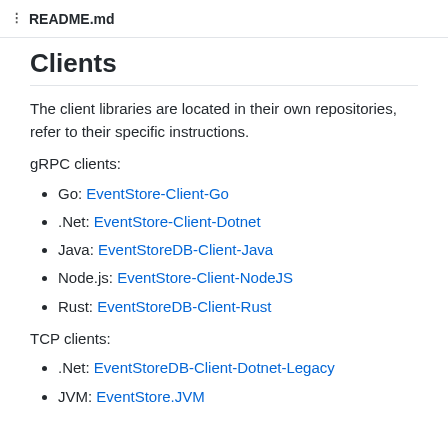README.md
Clients
The client libraries are located in their own repositories, refer to their specific instructions.
gRPC clients:
Go: EventStore-Client-Go
.Net: EventStore-Client-Dotnet
Java: EventStoreDB-Client-Java
Node.js: EventStore-Client-NodeJS
Rust: EventStoreDB-Client-Rust
TCP clients:
.Net: EventStoreDB-Client-Dotnet-Legacy
JVM: EventStore.JVM